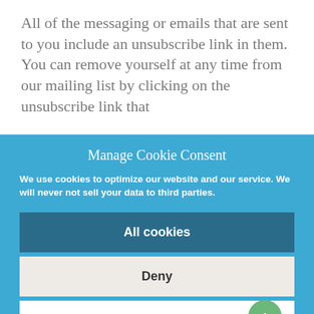All of the messaging or emails that are sent to you include an unsubscribe link in them. You can remove yourself at any time from our mailing list by clicking on the unsubscribe link that
Manage Cookie Consent
We use cookies to optimize our website and our service. We will never not sell your data to third parties.
All cookies
Deny
View preferences